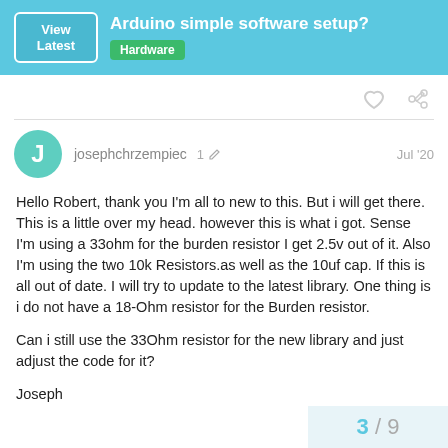Arduino simple software setup? Hardware
josephchrzempiec 1 Jul '20
Hello Robert, thank you I'm all to new to this. But i will get there. This is a little over my head. however this is what i got. Sense I'm using a 33ohm for the burden resistor I get 2.5v out of it. Also I'm using the two 10k Resistors.as well as the 10uf cap. If this is all out of date. I will try to update to the latest library. One thing is i do not have a 18-Ohm resistor for the Burden resistor.

Can i still use the 33Ohm resistor for the new library and just adjust the code for it?

Joseph
3 / 9